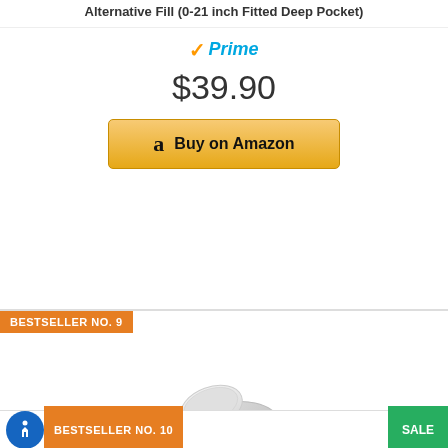[Figure (other): Amazon Prime badge with orange checkmark and blue italic Prime text]
$39.90
[Figure (other): Buy on Amazon button with orange-yellow gradient and Amazon 'a' logo]
BESTSELLER NO. 9
[Figure (photo): UPPAbaby bassinet mattress cover in light grey, oval shaped]
UPPAbaby Mattress Cover for Bassinet -Light Grey
[Figure (other): Five red star rating and Amazon Prime badge]
$19.99
[Figure (other): Buy on Amazon button with orange-yellow gradient and Amazon 'a' logo]
BESTSELLER NO. 10
SALE